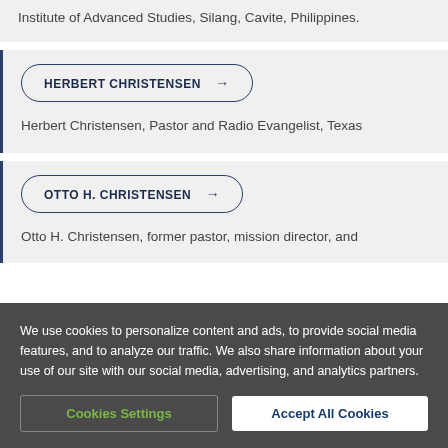Institute of Advanced Studies, Silang, Cavite, Philippines.
HERBERT CHRISTENSEN →
Herbert Christensen, Pastor and Radio Evangelist, Texas
OTTO H. CHRISTENSEN →
Otto H. Christensen, former pastor, mission director, and
We use cookies to personalize content and ads, to provide social media features, and to analyze our traffic. We also share information about your use of our site with our social media, advertising, and analytics partners.
Cookies Settings
Accept All Cookies